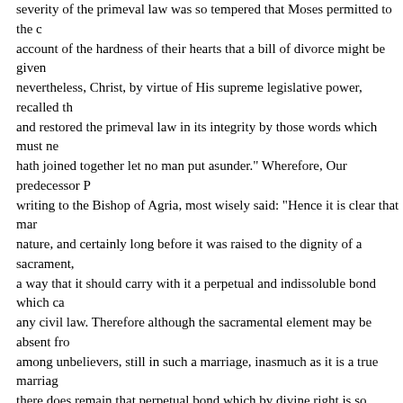severity of the primeval law was so tempered that Moses permitted to the children of Israel, on account of the hardness of their hearts that a bill of divorce might be given to the wife; nevertheless, Christ, by virtue of His supreme legislative power, recalled this permission, and restored the primeval law in its integrity by those words which must never be forgotten, "What hath joined together let no man put asunder." Wherefore, Our predecessor Pius VI, in writing to the Bishop of Agria, most wisely said: "Hence it is clear that marriage even in the state of nature, and certainly long before it was raised to the dignity of a sacrament, was divinely instituted in a way that it should carry with it a perpetual and indissoluble bond which cannot therefore be broken by any civil law. Therefore although the sacramental element may be absent from a marriage as it is among unbelievers, still in such a marriage, inasmuch as it is a true marriage there does remain that perpetual bond which by divine right is so bound up with matrimony from its first institution that it is not subject to any civil power. And so, whatever marriage is said to exist, either it is so contracted that it is really a true marriage, in which case it carries with it that enduring bond which by divine right is inherent in every true marriage; or it is thought to be contracted without that perpetual bond, and in that case there is no marriage, but an illicit union opposed to the divine law, which therefore cannot be entered into or maintained."[34]
35. And if this stability seems to be open to exception, however rare the exception, as in the case of certain natural marriages between unbelievers, or amongst Christians in the case of those marriages which though valid have not been consummated, that exception does not depend on the will of that of any merely human power, but on divine law, of which the only guardian